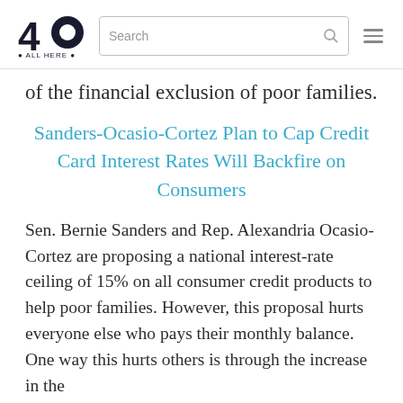40 | Search | [hamburger menu]
of the financial exclusion of poor families.
Sanders-Ocasio-Cortez Plan to Cap Credit Card Interest Rates Will Backfire on Consumers
Sen. Bernie Sanders and Rep. Alexandria Ocasio-Cortez are proposing a national interest-rate ceiling of 15% on all consumer credit products to help poor families. However, this proposal hurts everyone else who pays their monthly balance. One way this hurts others is through the increase in the